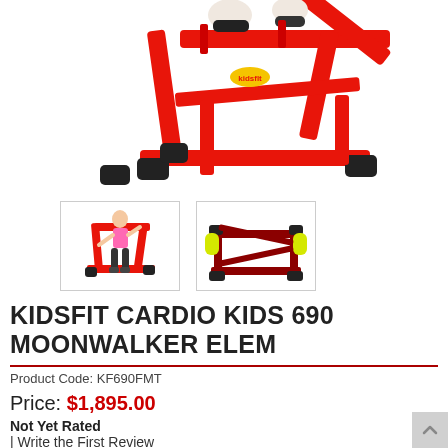[Figure (photo): Main product image of red KIDSFIT Cardio Kids 690 Moonwalker Elem exercise equipment, partially cropped, showing red metal frame with black rubber feet and a child's legs/shoes at the top.]
[Figure (photo): Thumbnail 1: child using red KidsFit moonwalker cardio equipment, wearing pink top and dark pants.]
[Figure (photo): Thumbnail 2: dark red/maroon moonwalker exercise frame with yellow hand grips, no rider, white background.]
KIDSFIT CARDIO KIDS 690 MOONWALKER ELEM
Product Code: KF690FMT
Price: $1,895.00
Not Yet Rated
| Write the First Review
Starting at $93/mo with affirm. Prequalify now